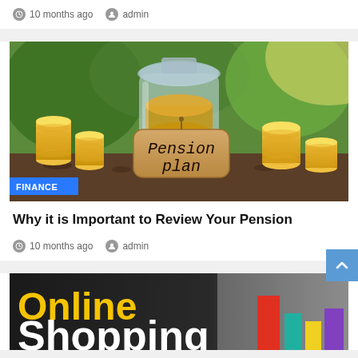10 months ago   admin
[Figure (photo): A glass jar with coins and stacks of gold coins beside a tag labeled 'Pension plan', surrounded by green plants in the background. A blue 'FINANCE' badge overlays the bottom left.]
Why it is Important to Review Your Pension
10 months ago   admin
[Figure (photo): Dark banner with 'Online Shopping' text in yellow and white, with colorful bar chart elements on the right side.]